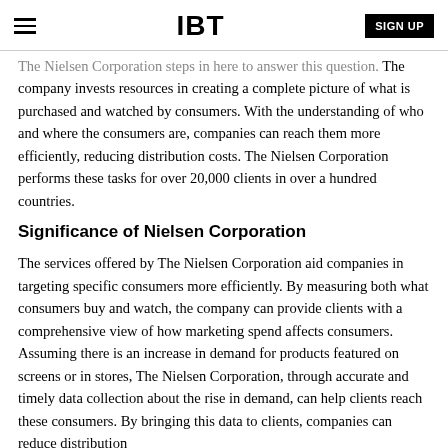IBT | SIGN UP
The Nielsen Corporation steps in here to answer this question. The company invests resources in creating a complete picture of what is purchased and watched by consumers. With the understanding of who and where the consumers are, companies can reach them more efficiently, reducing distribution costs. The Nielsen Corporation performs these tasks for over 20,000 clients in over a hundred countries.
Significance of Nielsen Corporation
The services offered by The Nielsen Corporation aid companies in targeting specific consumers more efficiently. By measuring both what consumers buy and watch, the company can provide clients with a comprehensive view of how marketing spend affects consumers. Assuming there is an increase in demand for products featured on screens or in stores, The Nielsen Corporation, through accurate and timely data collection about the rise in demand, can help clients reach these consumers. By bringing this data to clients, companies can reduce distribution